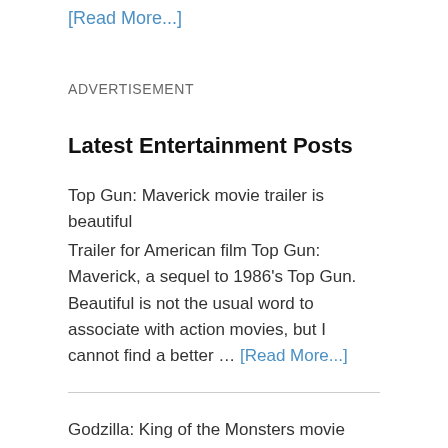[Read More...]
ADVERTISEMENT
Latest Entertainment Posts
Top Gun: Maverick movie trailer is beautiful
Trailer for American film Top Gun: Maverick, a sequel to 1986's Top Gun. Beautiful is not the usual word to associate with action movies, but I cannot find a better … [Read More...]
Godzilla: King of the Monsters movie trailer